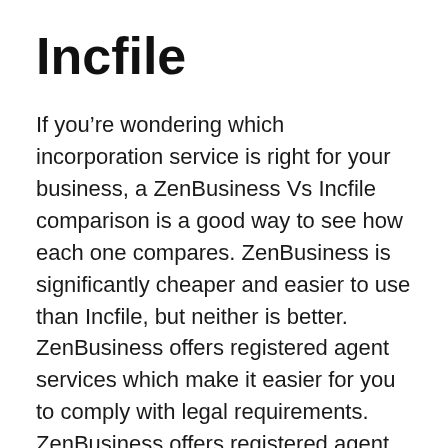Incfile
If you’re wondering which incorporation service is right for your business, a ZenBusiness Vs Incfile comparison is a good way to see how each one compares. ZenBusiness is significantly cheaper and easier to use than Incfile, but neither is better. ZenBusiness offers registered agent services which make it easier for you to comply with legal requirements. ZenBusiness offers registered agent services to all types of business entities, unlike Incfile.
ZenBusiness and Incfile have a major difference in customer service. Customers of ZenBusiness have consistently praised their